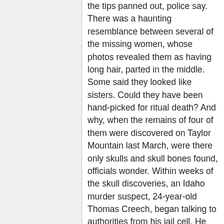the tips panned out, police say. There was a haunting resemblance between several of the missing women, whose photos revealed them as having long hair, parted in the middle. Some said they looked like sisters. Could they have been hand-picked for ritual death? And why, when the remains of four of them were discovered on Taylor Mountain last March, were there only skulls and skull bones found, officials wonder. Within weeks of the skull discoveries, an Idaho murder suspect, 24-year-old Thomas Creech, began talking to authorities from his jail cell. He said he had witnessed the ritualistic slaying of several